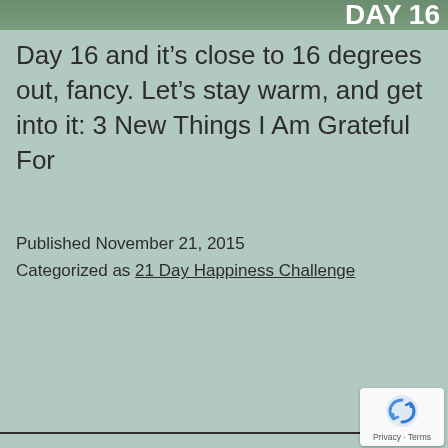[Figure (photo): Partial photo strip at the top of the page showing outdoor scene, with 'DAY 16' text overlay in bold white]
Day 16 and it’s close to 16 degrees out, fancy. Let’s stay warm, and get into it: 3 New Things I Am Grateful For
Published November 21, 2015
Categorized as 21 Day Happiness Challenge